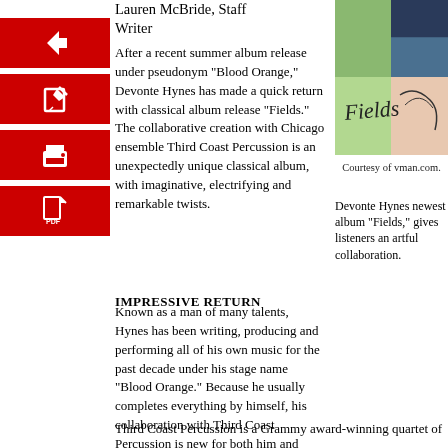Lauren McBride, Staff Writer
[Figure (illustration): Four red icon boxes with white icons: back arrow, edit/pencil, print, and PDF document icons]
After a recent summer album release under pseudonym "Blood Orange," Devonte Hynes has made a quick return with classical album release "Fields." The collaborative creation with Chicago ensemble Third Coast Percussion is an unexpectedly unique classical album, with imaginative, electrifying and remarkable twists.
[Figure (photo): Album cover for 'Fields' by Devonte Hynes and Third Coast Percussion - green/teal background with handwritten 'Fields' text and abstract black sketch]
Courtesy of vman.com.
Devonte Hynes newest album "Fields," gives listeners an artful collaboration.
IMPRESSIVE RETURN
Known as a man of many talents, Hynes has been writing, producing and performing all of his own music for the past decade under his stage name “Blood Orange.” Because he usually completes everything by himself, his collaboration with Third Coast Percussion is new for both him and listeners. “Fields” is the first album that Hynes has written but not performed himself.
Third Coast Percussion is a Grammy award-winning quartet of